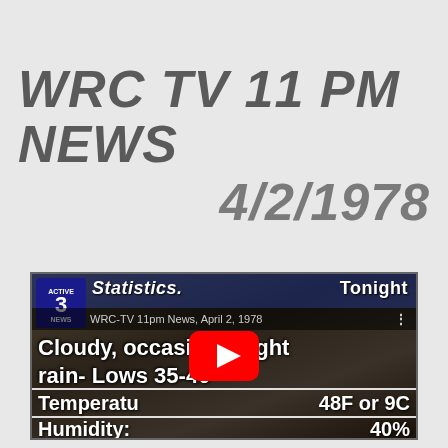WRC TV 11 PM NEWS
4/2/1978
[Figure (screenshot): YouTube video thumbnail showing a WRC-TV 11pm News broadcast from April 2, 1978. The screen shows weather statistics including text: 'Statistics. Tonight', 'WRC-TV 11pm News, April 2, 1978', 'Cloudy, occasional light rain- Lows 35-40', 'Temperature: 48F or 9C', 'Humidity: 40%'. A YouTube play button icon is overlaid on the video thumbnail. The WRC News 3 station logo is visible in the top-left corner of the video frame.]